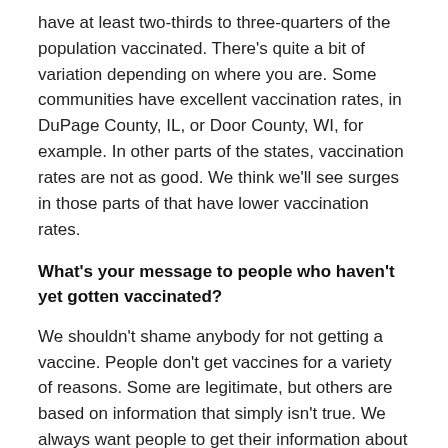have at least two-thirds to three-quarters of the population vaccinated. There's quite a bit of variation depending on where you are. Some communities have excellent vaccination rates, in DuPage County, IL, or Door County, WI, for example. In other parts of the states, vaccination rates are not as good. We think we'll see surges in those parts of that have lower vaccination rates.
What's your message to people who haven't yet gotten vaccinated?
We shouldn't shame anybody for not getting a vaccine. People don't get vaccines for a variety of reasons. Some are legitimate, but others are based on information that simply isn't true. We always want people to get their information about the vaccines from reliable, reputable sources only. Information obtained from social media sites is much less likely to be reliable.
The most important message is that people who are